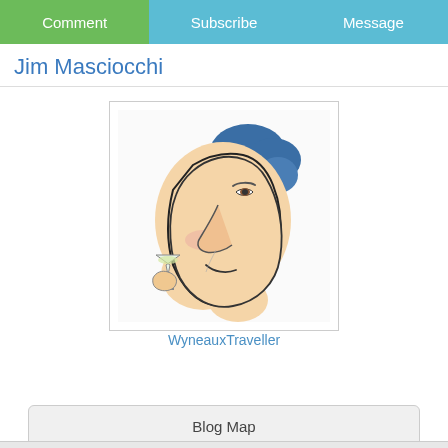Comment | Subscribe | Message
Jim Masciocchi
[Figure (illustration): Caricature illustration of a man with blue hair holding a wine glass, smiling in profile view. Cartoon/sketch style with light skin tones and ink outlines.]
WyneauxTraveller
Blog Map